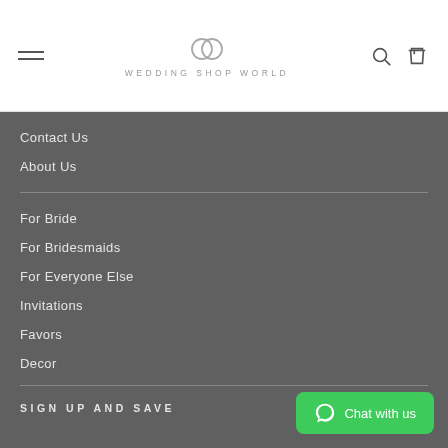WEDDING SHOP WORLD
Contact Us
About Us
For Bride
For Bridesmaids
For Everyone Else
Invitations
Favors
Decor
SIGN UP AND SAVE
Chat with us